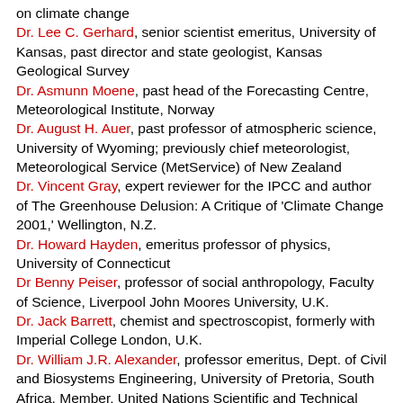on climate change
Dr. Lee C. Gerhard, senior scientist emeritus, University of Kansas, past director and state geologist, Kansas Geological Survey
Dr. Asmunn Moene, past head of the Forecasting Centre, Meteorological Institute, Norway
Dr. August H. Auer, past professor of atmospheric science, University of Wyoming; previously chief meteorologist, Meteorological Service (MetService) of New Zealand
Dr. Vincent Gray, expert reviewer for the IPCC and author of The Greenhouse Delusion: A Critique of 'Climate Change 2001,' Wellington, N.Z.
Dr. Howard Hayden, emeritus professor of physics, University of Connecticut
Dr Benny Peiser, professor of social anthropology, Faculty of Science, Liverpool John Moores University, U.K.
Dr. Jack Barrett, chemist and spectroscopist, formerly with Imperial College London, U.K.
Dr. William J.R. Alexander, professor emeritus, Dept. of Civil and Biosystems Engineering, University of Pretoria, South Africa. Member, United Nations Scientific and Technical Committee on Natural Disasters, 1994-2000